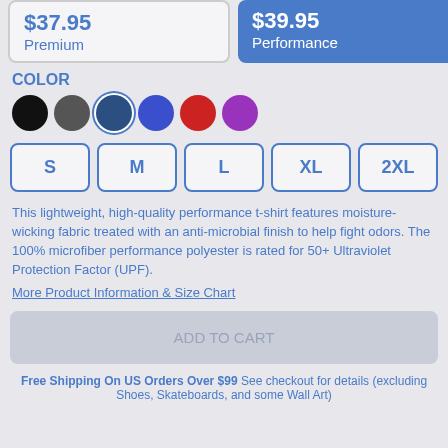$37.95 Premium
$39.95 Performance
COLOR
[Figure (other): Six color swatches: black, dark gray, navy (selected), blue, red, purple]
S  M  L  XL  2XL
This lightweight, high-quality performance t-shirt features moisture-wicking fabric treated with an anti-microbial finish to help fight odors. The 100% microfiber performance polyester is rated for 50+ Ultraviolet Protection Factor (UPF).
More Product Information & Size Chart
ADD TO CART
Free Shipping On US Orders Over $99 See checkout for details (excluding Shoes, Skateboards, and some Wall Art)